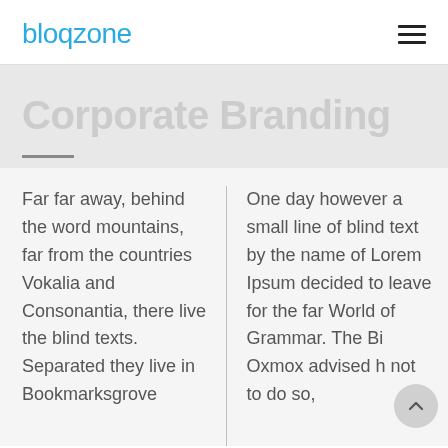bloqzone
Corporate Branding
Far far away, behind the word mountains, far from the countries Vokalia and Consonantia, there live the blind texts. Separated they live in Bookmarksgrove
One day however a small line of blind text by the name of Lorem Ipsum decided to leave for the far World of Grammar. The Big Oxmox advised h not to do so,